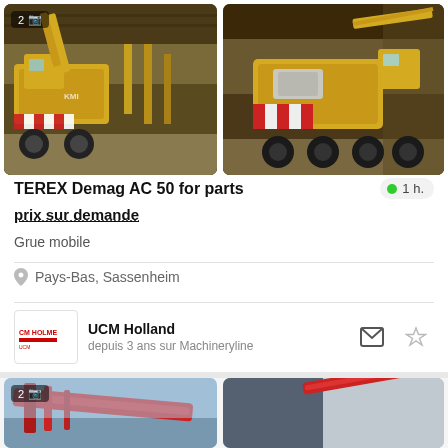[Figure (photo): Two photos of a yellow TEREX Demag AC 50 mobile crane in an industrial warehouse. Left photo shows the crane from the front/side. Right photo shows the crane from the rear/side. Badge shows '2' photos and a camera icon.]
TEREX Demag AC 50 for parts
● 1 h.
prix sur demande
Grue mobile
Pays-Bas, Sassenheim
UCM Holland
depuis 3 ans sur Machineryline
[Figure (photo): Two photos of a red crawler crane. Left photo shows the crane boom against a blue sky with a photo badge '2'. Right photo shows the crane from a different angle.]